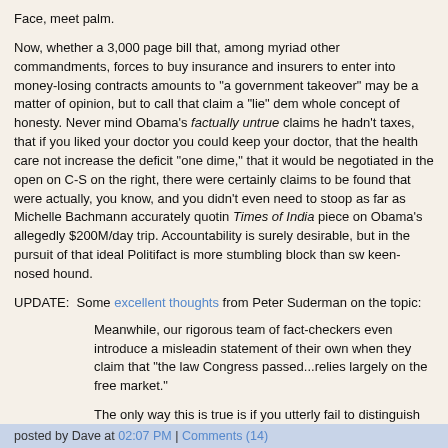Face, meet palm.
Now, whether a 3,000 page bill that, among myriad other commandments, forces to buy insurance and insurers to enter into money-losing contracts amounts to "a government takeover" may be a matter of opinion, but to call that claim a "lie" den whole concept of honesty. Never mind Obama's factually untrue claims he hadn't taxes, that if you liked your doctor you could keep your doctor, that the health care not increase the deficit "one dime," that it would be negotiated in the open on C-S on the right, there were certainly claims to be found that were actually, you know, and you didn't even need to stoop as far as Michelle Bachmann accurately quotin Times of India piece on Obama's allegedly $200M/day trip. Accountability is sure desirable, but in the pursuit of that ideal Politifact is more stumbling block than sw keen-nosed hound.
UPDATE: Some excellent thoughts from Peter Suderman on the topic:
Meanwhile, our rigorous team of fact-checkers even introduce a misleadin statement of their own when they claim that "the law Congress passed...relies largely on the free market."
The only way this is true is if you utterly fail to distinguish between the concepts of "the free market" and "a highly regulated private sector," whic a far more accurate description of what the health care law relies on to accomplish its goals.
Sadly, making important distinctions doesn't seem to be their strong suit. Somehow when picking their lie of the year, Politifact settled on a minority party exaggeration with elements of truth--and managed to ignore the nea continuous stream of full-blooded whoppers coming from the folks actually running things.
posted by Dave at 02:07 PM | Comments (14)